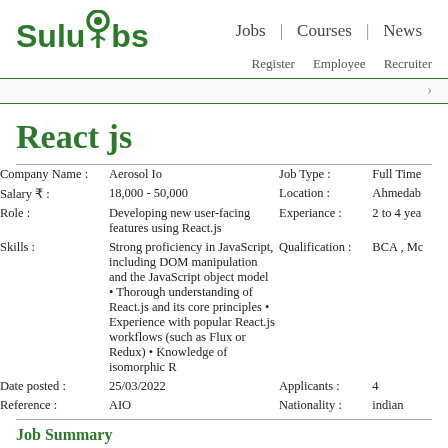SuluJobs | Jobs | Courses | News | Register Employee Recruiter
React js
| Label | Value | Label2 | Value2 |
| --- | --- | --- | --- |
| Company Name : | Aerosol Io | Job Type : | Full Time |
| Salary ₹ : | 18,000 - 50,000 | Location : | Ahmedabad |
| Role : | Developing new user-facing features using React.js | Experiance : | 2 to 4 years |
| Skills : | Strong proficiency in JavaScript, including DOM manipulation and the JavaScript object model • Thorough understanding of React.js and its core principles • Experience with popular React.js workflows (such as Flux or Redux) • Knowledge of isomorphic R | Qualification : | BCA , Mc |
| Date posted : | 25/03/2022 | Applicants : | 4 |
| Reference : | AIO | Nationality : | indian |
Job Summary